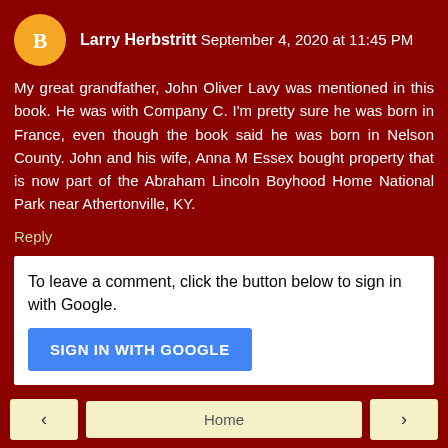Larry Herbstritt  September 4, 2020 at 11:45 PM
My great grandfather, John Oliver Lavy was mentioned in this book. He was with Company C. I'm pretty sure he was born in France, even though the book said he was born in Nelson County. John and his wife, Anna M Essex bought property that is now part of the Abraham Lincoln Boyhood Home National Park near Athertonville, KY.
Reply
To leave a comment, click the button below to sign in with Google.
SIGN IN WITH GOOGLE
Home
View web version
Powered by Blogger.